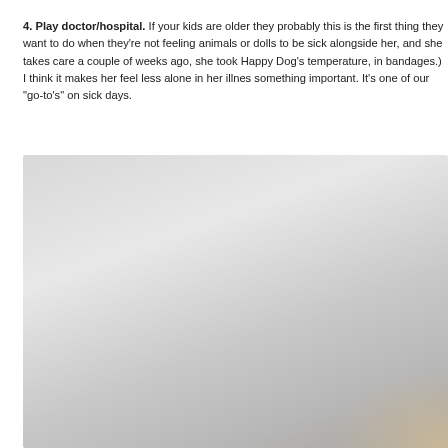4. Play doctor/hospital.  If your kids are older they probably this is the first thing they want to do when they're not feeling animals or dolls to be sick alongside her, and she takes care a couple of weeks ago, she took Happy Dog's temperature, in bandages.) I think it makes her feel less alone in her illnes something important. It's one of our "go-to's" on sick days.
[Figure (photo): A photo of a child playing doctor/hospital, partially visible at the bottom right of the image. The photo has a light gray/beige background.]